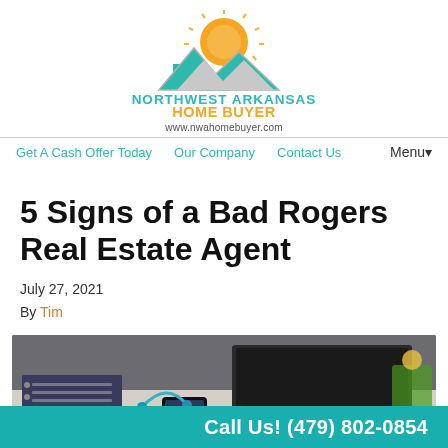[Figure (logo): Northwest Arkansas Home Buyer logo with house silhouette and orange sun, teal and orange text, website www.nwahomebuyer.com]
Get A Cash Offer Today   Our Company   Contact Us   Menu▾
5 Signs of a Bad Rogers Real Estate Agent
July 27, 2021
By Tim
[Figure (photo): Photo of a desk with a laptop, notebook, smartphone, headphones and other office items]
Call Us! (479) 802-0854